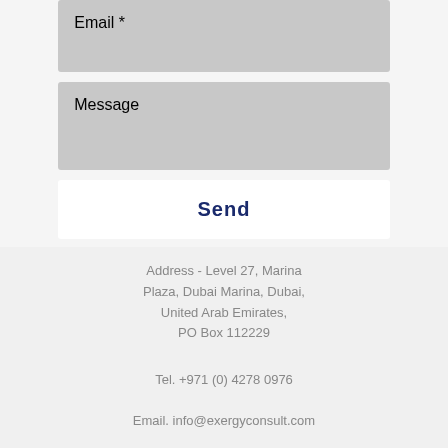Email *
Message
Send
Address - Level 27, Marina Plaza, Dubai Marina, Dubai, United Arab Emirates, PO Box 112229
Tel. +971 (0) 4278 0976
Email. info@exergyconsult.com